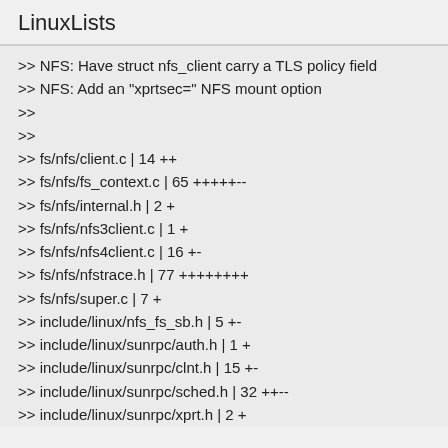LinuxLists
>> NFS: Have struct nfs_client carry a TLS policy field
>> NFS: Add an "xprtsec=" NFS mount option
>>
>>
>> fs/nfs/client.c | 14 ++
>> fs/nfs/fs_context.c | 65 +++++--
>> fs/nfs/internal.h | 2 +
>> fs/nfs/nfs3client.c | 1 +
>> fs/nfs/nfs4client.c | 16 +-
>> fs/nfs/nfstrace.h | 77 ++++++++
>> fs/nfs/super.c | 7 +
>> include/linux/nfs_fs_sb.h | 5 +-
>> include/linux/sunrpc/auth.h | 1 +
>> include/linux/sunrpc/clnt.h | 15 +-
>> include/linux/sunrpc/sched.h | 32 ++--
>> include/linux/sunrpc/xprt.h | 2 +